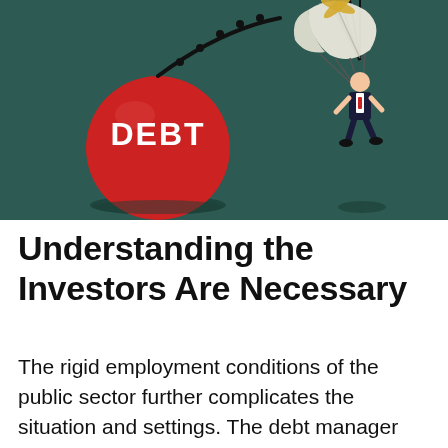[Figure (illustration): Illustration on dark teal/green background showing a large red ball labeled DEBT on the left connected by a rope/cord, and on the right a small businessman figure being lifted by a white parachute with a golden propeller at top.]
Understanding the Investors Are Necessary
The rigid employment conditions of the public sector further complicates the situation and settings. The debt manager has to understand the main challenges, priorities of the organization and the interests and objectives. The outlook of global debt changes with the issuance and therefore debt managers must know exactly